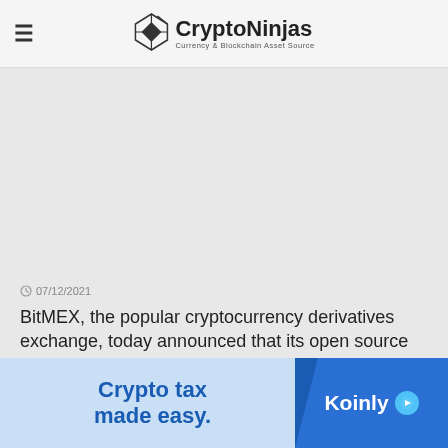CryptoNinjas — Currency & Blockchain Asset Source
07/12/2021
BitMEX, the popular cryptocurrency derivatives exchange, today announced that its open source developer grant program will soon be re-opened for ...
READ MORE
BitMEX launches Solana (SOL) perpetual contract with
[Figure (infographic): Advertisement banner for Koinly: 'Crypto tax made easy.' on light blue left side, 'Koinly' logo with play button icon on dark blue right side]